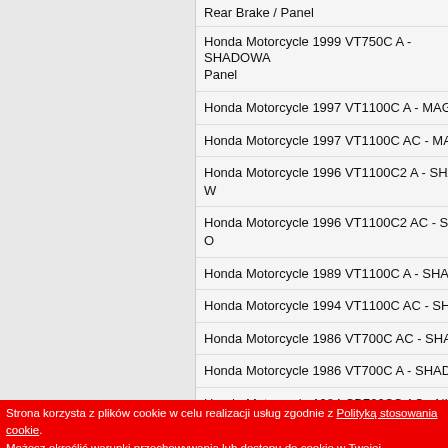Rear Brake / Panel
Honda Motorcycle 1999 VT750C A - SHADOWA Panel
Honda Motorcycle 1997 VT1100C A - MAGNA R
Honda Motorcycle 1997 VT1100C AC - MAGNA
Honda Motorcycle 1996 VT1100C2 A - SHADOW
Honda Motorcycle 1996 VT1100C2 AC - SHADO
Honda Motorcycle 1989 VT1100C A - SHADOW
Honda Motorcycle 1994 VT1100C AC - SHADO
Honda Motorcycle 1986 VT700C AC - SHADOW
Honda Motorcycle 1986 VT700C A - SHADOW
Honda Motorcycle 1984 CB700SC AC - NIGHTH
Strona korzysta z plików cookie w celu realizacji usług zgodnie z Polityką stosowania cookie. Możesz określić warunki przechowywania lub dostępu do cookie w Twojej przeglądarce lub k